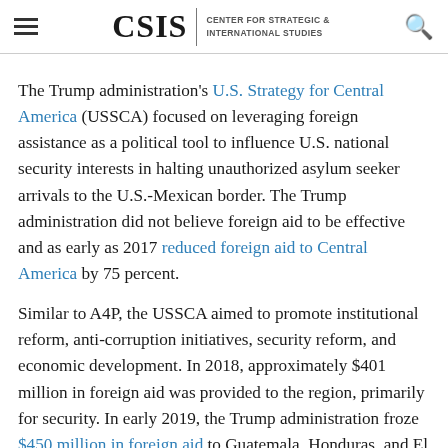CSIS | CENTER FOR STRATEGIC & INTERNATIONAL STUDIES
The Trump administration's U.S. Strategy for Central America (USSCA) focused on leveraging foreign assistance as a political tool to influence U.S. national security interests in halting unauthorized asylum seeker arrivals to the U.S.-Mexican border. The Trump administration did not believe foreign aid to be effective and as early as 2017 reduced foreign aid to Central America by 75 percent.
Similar to A4P, the USSCA aimed to promote institutional reform, anti-corruption initiatives, security reform, and economic development. In 2018, approximately $401 million in foreign aid was provided to the region, primarily for security. In early 2019, the Trump administration froze $450 million in foreign aid to Guatemala, Honduras, and El Salvador because of migration from those countries. Following the suspension